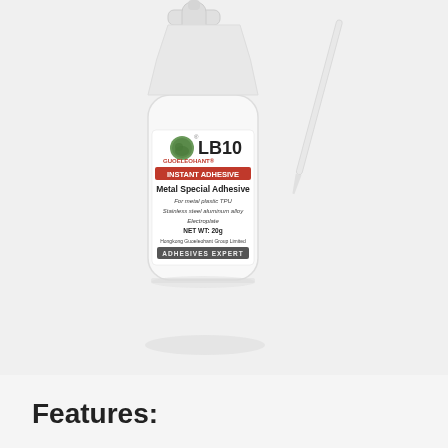[Figure (photo): Product photo of LB10 GUOELEOHANT Instant Adhesive Metal Special Adhesive bottle (white squeeze bottle with label) and a thin applicator needle tip, on a light grey background. The label reads: LB10, GUOELEOHANT, INSTANT ADHESIVE, Metal Special Adhesive, For metal plastic TPU, Stainless steel aluminum alloy, Electroplate, NET WT: 20g, Hongkong Guoeleohant Group Limited, ADHESIVES EXPERT.]
Features: